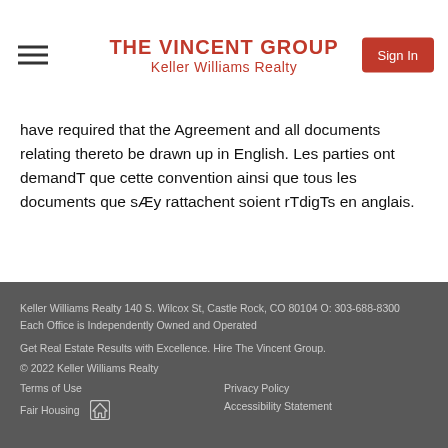THE VINCENT GROUP Keller Williams Realty
have required that the Agreement and all documents relating thereto be drawn up in English. Les parties ont demandT que cette convention ainsi que tous les documents que sÆy rattachent soient rTdigTs en anglais.
Keller Williams Realty 140 S. Wilcox St, Castle Rock, CO 80104 O: 303-688-8300
Each Office is Independently Owned and Operated

Get Real Estate Results with Excellence. Hire The Vincent Group.

© 2022 Keller Williams Realty

Terms of Use   Privacy Policy
Fair Housing   Accessibility Statement